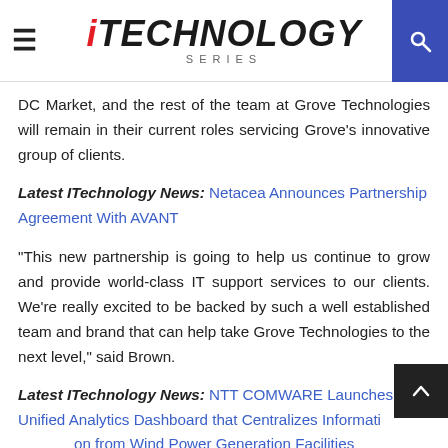iTechnology Series
DC Market, and the rest of the team at Grove Technologies will remain in their current roles servicing Grove's innovative group of clients.
Latest ITechnology News: Netacea Announces Partnership Agreement With AVANT
“This new partnership is going to help us continue to grow and provide world-class IT support services to our clients. We’re really excited to be backed by such a well established team and brand that can help take Grove Technologies to the next level,” said Brown.
Latest ITechnology News: NTT COMWARE Launches Unified Analytics Dashboard that Centralizes Information from Wind Power Generation Facilities